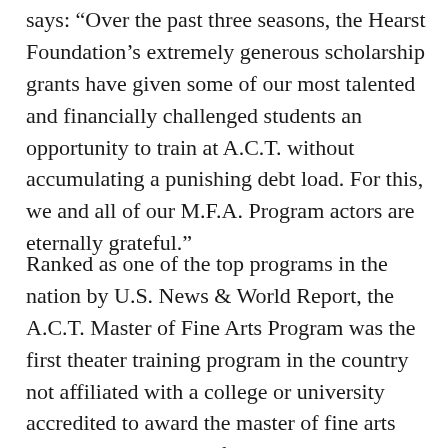says: “Over the past three seasons, the Hearst Foundation’s extremely generous scholarship grants have given some of our most talented and financially challenged students an opportunity to train at A.C.T. without accumulating a punishing debt load. For this, we and all of our M.F.A. Program actors are eternally grateful.”
Ranked as one of the top programs in the nation by U.S. News & World Report, the A.C.T. Master of Fine Arts Program was the first theater training program in the country not affiliated with a college or university accredited to award the master of fine arts degree. The essence of A.C.T.’s actor training lies in the interplay between the professional company and the conservatory. Student actors at A.C.T. perform